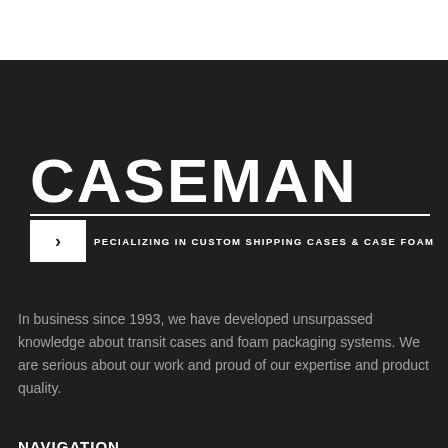[Figure (logo): CASEMAN logo in large white bold text on dark background with tagline 'SPECIALIZING IN CUSTOM SHIPPING CASES & CASE FOAM']
In business since 1993, we have developed unsurpassed knowledge about transit cases and foam packaging systems. We are serious about our work and proud of our expertise and product quality.
NAVIGATION